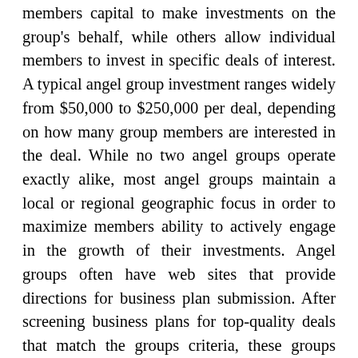members capital to make investments on the group's behalf, while others allow individual members to invest in specific deals of interest. A typical angel group investment ranges widely from $50,000 to $250,000 per deal, depending on how many group members are interested in the deal. While no two angel groups operate exactly alike, most angel groups maintain a local or regional geographic focus in order to maximize members ability to actively engage in the growth of their investments. Angel groups often have web sites that provide directions for business plan submission. After screening business plans for top-quality deals that match the groups criteria, these groups organize regular monthly breakfast or dinner meetings for members to hear pitches from companies selected to present. If the group (or members of the group) decides to